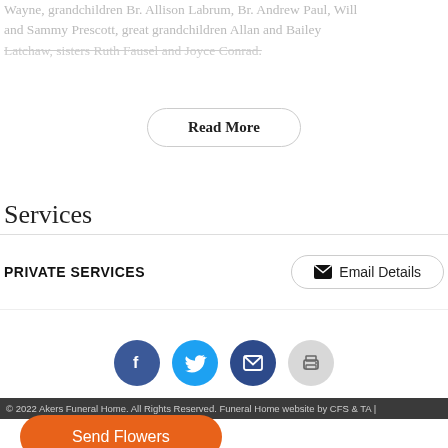Wayne, grandchildren Br. Allison Labrum, Br. Andrew Paul, Will and Sammy Prescott, great grandchildren Allan and Bailey [faded text continues]
Read More
Services
PRIVATE SERVICES
Email Details
[Figure (infographic): Row of four social media sharing icons: Facebook (dark blue circle with f), Twitter (cyan circle with bird), Email (dark blue circle with envelope), Print (gray circle with printer)]
© 2022 Akers Funeral Home. All Rights Reserved. Funeral Home website by CFS & TA |
Send Flowers